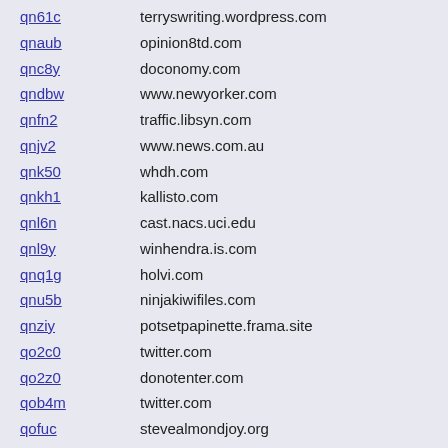| code | url |
| --- | --- |
| qn61c | terryswriting.wordpress.com |
| qnaub | opinion8td.com |
| qnc8y | doconomy.com |
| qndbw | www.newyorker.com |
| qnfn2 | traffic.libsyn.com |
| qnjv2 | www.news.com.au |
| qnk50 | whdh.com |
| qnkh1 | kallisto.com |
| qnl6n | cast.nacs.uci.edu |
| qnl9y | winhendra.is.com |
| qnq1g | holvi.com |
| qnu5b | ninjakiwifiles.com |
| qnziy | potsetpapinette.frama.site |
| qo2c0 | twitter.com |
| qo2z0 | donotenter.com |
| qob4m | twitter.com |
| qofuc | stevealmondjoy.org |
| qoq69 | www.instagram.com |